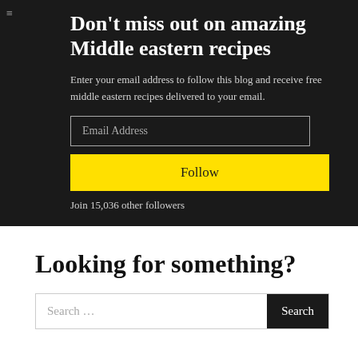Don't miss out on amazing Middle eastern recipes
Enter your email address to follow this blog and receive free middle eastern recipes delivered to your email.
Email Address
Follow
Join 15,036 other followers
Looking for something?
Search …